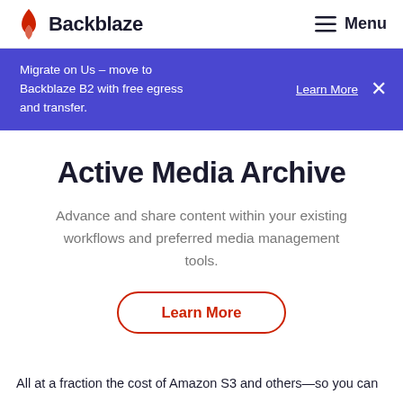Backblaze | Menu
Migrate on Us – move to Backblaze B2 with free egress and transfer. Learn More
Active Media Archive
Advance and share content within your existing workflows and preferred media management tools.
Learn More
All at a fraction the cost of Amazon S3 and others—so you can